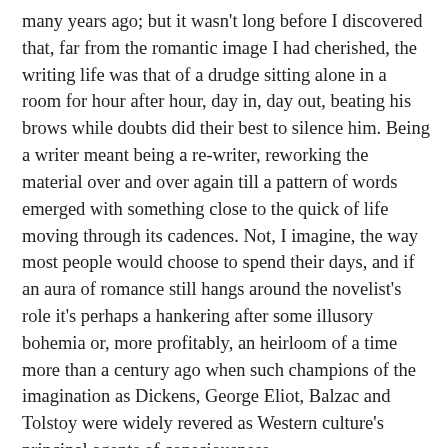many years ago; but it wasn't long before I discovered that, far from the romantic image I had cherished, the writing life was that of a drudge sitting alone in a room for hour after hour, day in, day out, beating his brows while doubts did their best to silence him. Being a writer meant being a re-writer, reworking the material over and over again till a pattern of words emerged with something close to the quick of life moving through its cadences. Not, I imagine, the way most people would choose to spend their days, and if an aura of romance still hangs around the novelist's role it's perhaps a hankering after some illusory bohemia or, more profitably, an heirloom of a time more than a century ago when such champions of the imagination as Dickens, George Eliot, Balzac and Tolstoy were widely revered as Western culture's principal agents of consciousness.
But those authors thrived in a more coherent age than ours, an era before Freud, relativity theory and quantum uncertainties, when it was still feasible for their generous imaginations to convey with magisterial intelligence both the inward lives and outward behaviour of diverse characters along with a shrewd